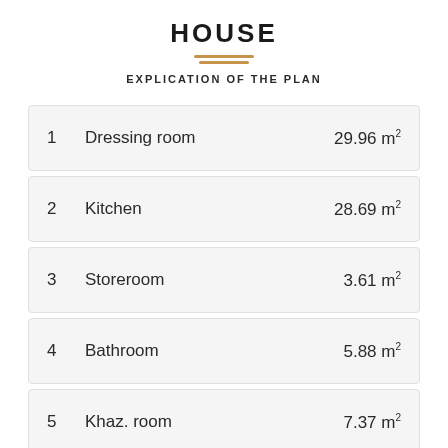HOUSE
EXPLICATION OF THE PLAN
| # | Room | Area |
| --- | --- | --- |
| 1 | Dressing room | 29.96 m² |
| 2 | Kitchen | 28.69 m² |
| 3 | Storeroom | 3.61 m² |
| 4 | Bathroom | 5.88 m² |
| 5 | Khaz. room | 7.37 m² |
| 6 | Mini-boiler room | 8.73 m² |
| 7 | Living room with kitchen | 238.23 m² |